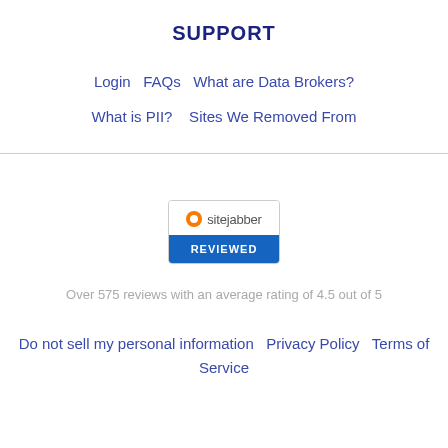SUPPORT
Login   FAQs   What are Data Brokers?
What is PII?   Sites We Removed From
[Figure (logo): Sitejabber reviewed badge with orange circle icon, 'sitejabber' text, and blue 'REVIEWED' bar]
Over 575 reviews with an average rating of 4.5 out of 5
Do not sell my personal information   Privacy Policy   Terms of Service